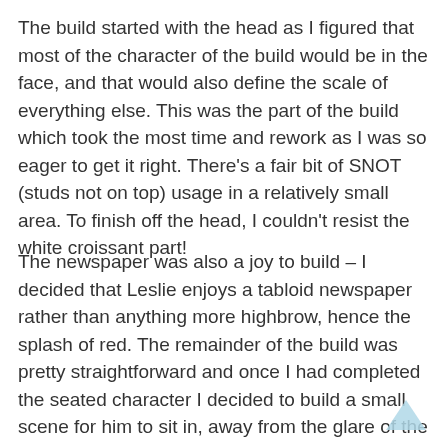The build started with the head as I figured that most of the character of the build would be in the face, and that would also define the scale of everything else. This was the part of the build which took the most time and rework as I was so eager to get it right. There's a fair bit of SNOT (studs not on top) usage in a relatively small area. To finish off the head, I couldn't resist the white croissant part!
The newspaper was also a joy to build – I decided that Leslie enjoys a tabloid newspaper rather than anything more highbrow, hence the splash of red. The remainder of the build was pretty straightforward and once I had completed the seated character I decided to build a small scene for him to sit in, away from the glare of the afternoon sun.